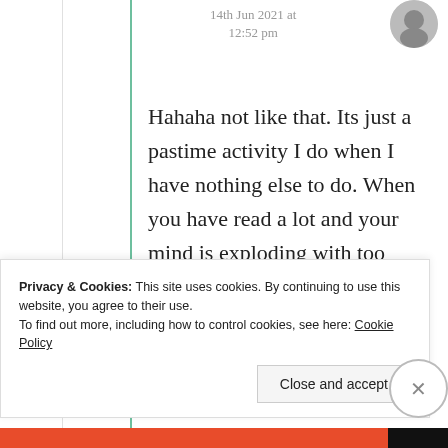14th Jun 2021 at 12:52 pm
Hahaha not like that. Its just a pastime activity I do when I have nothing else to do. When you have read a lot and your mind is exploding with too much knowledge that this happened 🐾 You are
Privacy & Cookies: This site uses cookies. By continuing to use this website, you agree to their use.
To find out more, including how to control cookies, see here: Cookie Policy
Close and accept